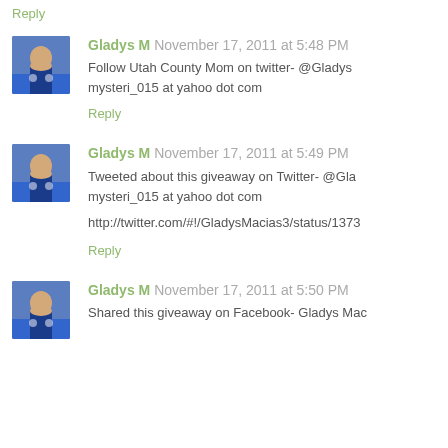Reply
Gladys M November 17, 2011 at 5:48 PM
Follow Utah County Mom on twitter- @Gladys mysteri_015 at yahoo dot com
Reply
Gladys M November 17, 2011 at 5:49 PM
Tweeted about this giveaway on Twitter- @Gla mysteri_015 at yahoo dot com
http://twitter.com/#!/GladysMacias3/status/1373
Reply
Gladys M November 17, 2011 at 5:50 PM
Shared this giveaway on Facebook- Gladys Mac